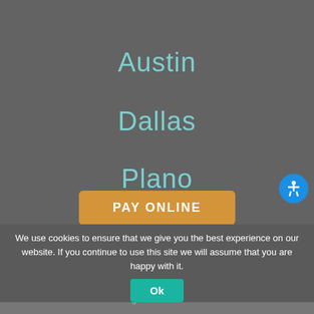Austin
Dallas
Plano
PAY ONLINE
We use cookies to ensure that we give you the best experience on our website. If you continue to use this site we will assume that you are happy with it.
Ok
Disclaimer
© 2022 Copyright Gorainbain Bain Ausley, PLLC. All rights reserved.